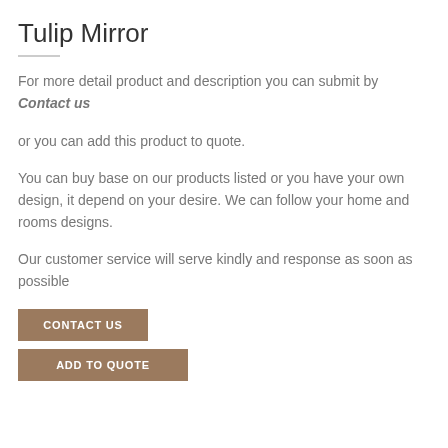Tulip Mirror
For more detail product and description you can submit by Contact us
or you can add this product to quote.
You can buy base on our products listed or you have your own design, it depend on your desire. We can follow your home and rooms designs.
Our customer service will serve kindly and response as soon as possible
CONTACT US
ADD TO QUOTE